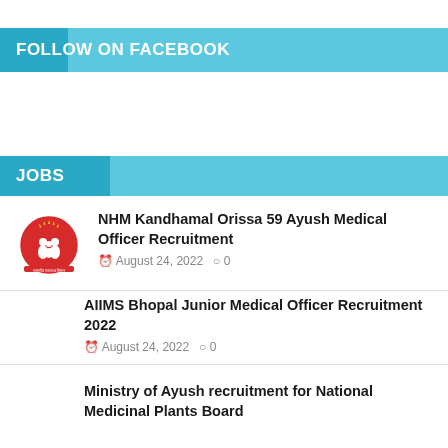FOLLOW ON FACEBOOK
JOBS
NHM Kandhamal Orissa 59 Ayush Medical Officer Recruitment
August 24, 2022  0
AIIMS Bhopal Junior Medical Officer Recruitment 2022
August 24, 2022  0
Ministry of Ayush recruitment for National Medicinal Plants Board